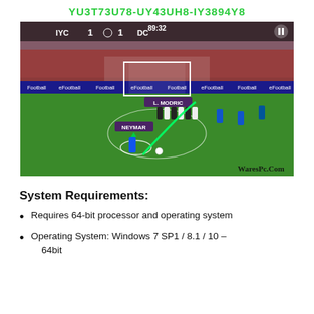YU3T73U78-UY43UH8-IY3894Y8
[Figure (screenshot): eFootball soccer game screenshot showing a free kick scenario. Score shows IYC 1-1 DC at 89:32. Players labeled L. MODRIC and NEYMAR visible. Field has eFootball advertisement boards. WaresPc.Com watermark visible.]
System Requirements:
Requires 64-bit processor and operating system
Operating System: Windows 7 SP1 / 8.1 / 10 – 64bit